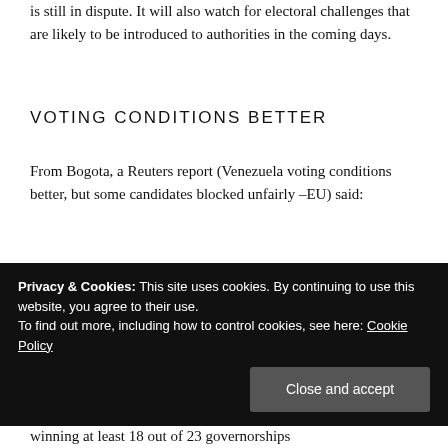is still in dispute. It will also watch for electoral challenges that are likely to be introduced to authorities in the coming days.
VOTING CONDITIONS BETTER
From Bogota, a Reuters report (Venezuela voting conditions better, but some candidates blocked unfairly –EU) said:
Venezuelan regional and local elections last weekend were held under better conditions than those of previous contests, the head of a European Union's
Privacy & Cookies: This site uses cookies. By continuing to use this website, you agree to their use.
To find out more, including how to control cookies, see here: Cookie Policy
Close and accept
winning at least 18 out of 23 governorships